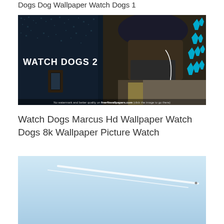Dogs Dog Wallpaper Watch Dogs 1
[Figure (photo): Watch Dogs 2 promotional wallpaper showing a masked character wearing a cap and earphones, holding a phone, with blue pixel-art style icons and the Watch Dogs 2 logo. Watermark: No watermark and better quality on free4kwallpapers.com (click the image to go there)]
Watch Dogs Marcus Hd Wallpaper Watch Dogs 8k Wallpaper Picture Watch
[Figure (photo): Light blue sky with white aircraft contrails/vapor trails crossing diagonally]